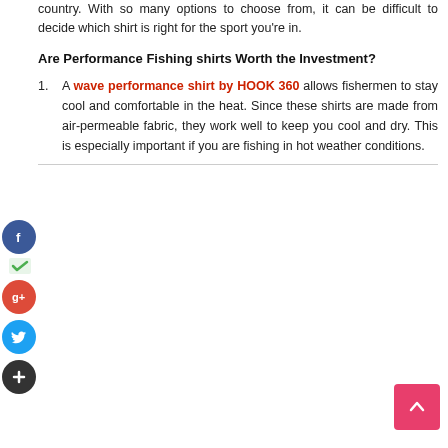country. With so many options to choose from, it can be difficult to decide which shirt is right for the sport you're in.
Are Performance Fishing shirts Worth the Investment?
A wave performance shirt by HOOK 360 allows fishermen to stay cool and comfortable in the heat. Since these shirts are made from air-permeable fabric, they work well to keep you cool and dry. This is especially important if you are fishing in hot weather conditions.
[Figure (infographic): Social media share icons: Facebook (blue circle), Google+ (red circle), Twitter (blue circle), Add/Plus (dark circle). Small green checkmark icon. Pink back-to-top button with upward arrow in bottom right corner.]